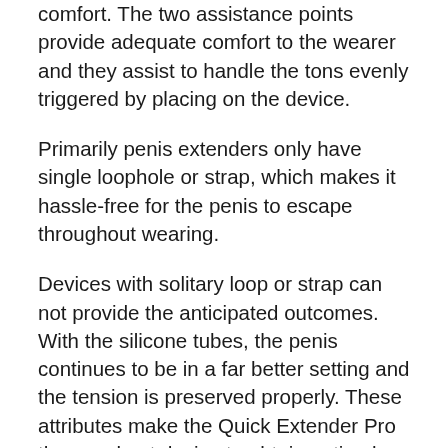comfort. The two assistance points provide adequate comfort to the wearer and they assist to handle the tons evenly triggered by placing on the device.
Primarily penis extenders only have single loophole or strap, which makes it hassle-free for the penis to escape throughout wearing.
Devices with solitary loop or strap can not provide the anticipated outcomes. With the silicone tubes, the penis continues to be in a far better setting and the tension is preserved properly. These attributes make the Quick Extender Pro the very best device to obtain optimal gains. The gadget holds three attributes that make it stick out; the duration of use, setting precision and also